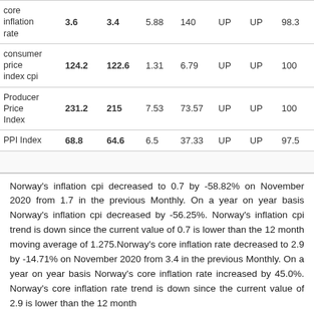|  | Val1 | Val2 | Num1 | Num2 | Dir1 | Dir2 | Pct |
| --- | --- | --- | --- | --- | --- | --- | --- |
| core inflation rate | 3.6 | 3.4 | 5.88 | 140 | UP | UP | 98.3 |
| consumer price index cpi | 124.2 | 122.6 | 1.31 | 6.79 | UP | UP | 100 |
| Producer Price Index | 231.2 | 215 | 7.53 | 73.57 | UP | UP | 100 |
| PPI Index | 68.8 | 64.6 | 6.5 | 37.33 | UP | UP | 97.5 |
Norway's inflation cpi decreased to 0.7 by -58.82% on November 2020 from 1.7 in the previous Monthly. On a year on year basis Norway's inflation cpi decreased by -56.25%. Norway's inflation cpi trend is down since the current value of 0.7 is lower than the 12 month moving average of 1.275.Norway's core inflation rate decreased to 2.9 by -14.71% on November 2020 from 3.4 in the previous Monthly. On a year on year basis Norway's core inflation rate increased by 45.0%. Norway's core inflation rate trend is down since the current value of 2.9 is lower than the 12 month